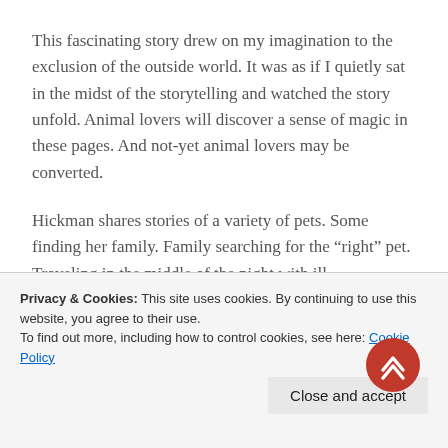This fascinating story drew on my imagination to the exclusion of the outside world. It was as if I quietly sat in the midst of the storytelling and watched the story unfold. Animal lovers will discover a sense of magic in these pages. And not-yet animal lovers may be converted.
Hickman shares stories of a variety of pets. Some finding her family. Family searching for the “right” pet. Traveling in the middle of the night with ill companions, and walking with happy dogs. Each example brought me close to home and evoked memories I had not considered for some time.
Privacy & Cookies: This site uses cookies. By continuing to use this website, you agree to their use.
To find out more, including how to control cookies, see here: Cookie Policy
Close and accept
some 38 years ago, cats have become the animal to share our lives. Currently, we enjoy the antics of two cats; yet, over time we’ve loved and nurtured three others.